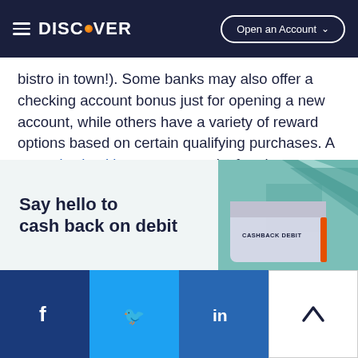DISCOVER — Open an Account
bistro in town!). Some banks may also offer a checking account bonus just for opening a new account, while others have a variety of reward options based on certain qualifying purchases. A rewards checking account works for almost anyone looking to maximize their debit spend or a balance they regularly hold in their checking account.
[Figure (infographic): Promotional card showing 'Say hello to cash back on debit' text with a Discover Cashback Debit card image on a teal geometric background]
Facebook | Twitter | LinkedIn | Scroll to top